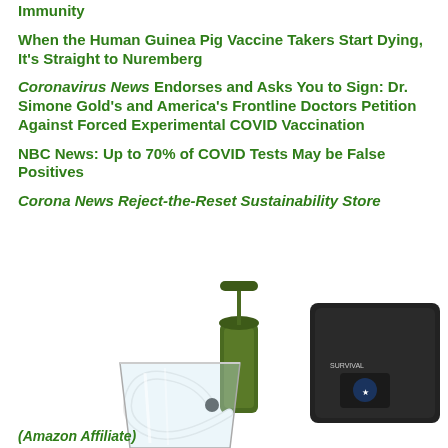Immunity
When the Human Guinea Pig Vaccine Takers Start Dying, It's Straight to Nuremberg
Coronavirus News Endorses and Asks You to Sign: Dr. Simone Gold's and America's Frontline Doctors Petition Against Forced Experimental COVID Vaccination
NBC News: Up to 70% of COVID Tests May be False Positives
Corona News Reject-the-Reset Sustainability Store
[Figure (photo): Product photo of a portable water filtration device (olive green pump/filter with carrying case and hose), shown against white background.]
(Amazon Affiliate)